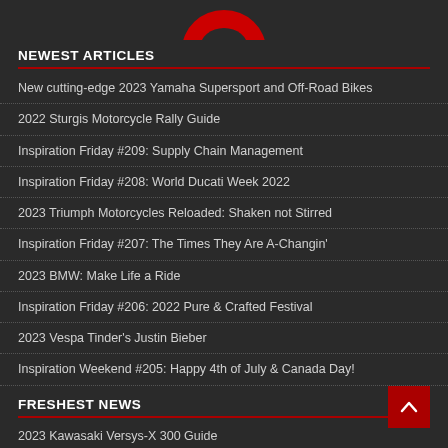[Figure (logo): Partial circular red logo visible at top of page]
NEWEST ARTICLES
New cutting-edge 2023 Yamaha Supersport and Off-Road Bikes
2022 Sturgis Motorcycle Rally Guide
Inspiration Friday #209: Supply Chain Management
Inspiration Friday #208: World Ducati Week 2022
2023 Triumph Motorcycles Reloaded: Shaken not Stirred
Inspiration Friday #207: The Times They Are A-Changin'
2023 BMW: Make Life a Ride
Inspiration Friday #206: 2022 Pure & Crafted Festival
2023 Vespa Tinder's Justin Bieber
Inspiration Weekend #205: Happy 4th of July & Canada Day!
FRESHEST NEWS
2023 Kawasaki Versys-X 300 Guide